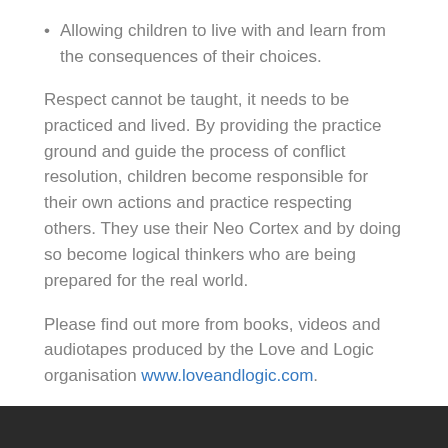Allowing children to live with and learn from the consequences of their choices.
Respect cannot be taught, it needs to be practiced and lived. By providing the practice ground and guide the process of conflict resolution, children become responsible for their own actions and practice respecting others. They use their Neo Cortex and by doing so become logical thinkers who are being prepared for the real world.
Please find out more from books, videos and audiotapes produced by the Love and Logic organisation www.loveandlogic.com.